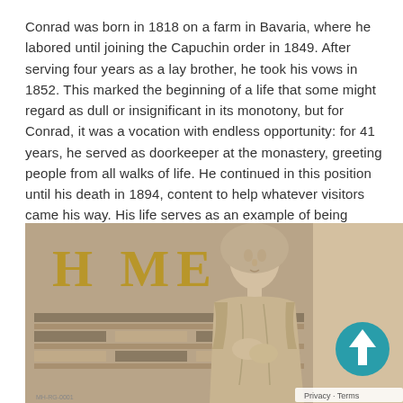Conrad was born in 1818 on a farm in Bavaria, where he labored until joining the Capuchin order in 1849. After serving four years as a lay brother, he took his vows in 1852. This marked the beginning of a life that some might regard as dull or insignificant in its monotony, but for Conrad, it was a vocation with endless opportunity: for 41 years, he served as doorkeeper at the monastery, greeting people from all walks of life. He continued in this position until his death in 1894, content to help whatever visitors came his way. His life serves as an example of being faithful in the ordinary.
[Figure (photo): Stone sculpture of a robed figure (likely a saint or religious figure) with hands folded, set against a carved stone wall with the letters 'H ME' visible in gold lettering above. A blue circular scroll-up button with an upward arrow is overlaid in the lower right corner. A 'Privacy · Terms' bar appears at the bottom right.]